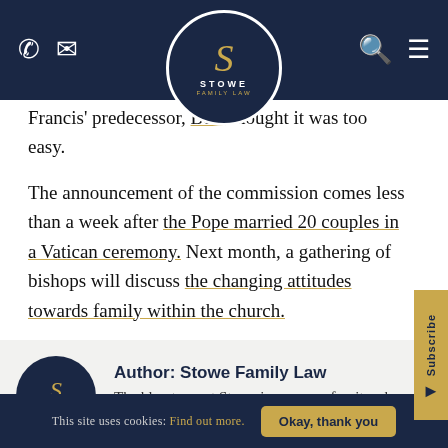Stowe Family Law navigation header with phone, email, search, and menu icons
[Figure (logo): Stowe Family Law circular logo with stylized S in gold on dark navy background]
Francis' predecessor, Benedict, thought it was too easy.
The announcement of the commission comes less than a week after the Pope married 20 couples in a Vatican ceremony. Next month, a gathering of bishops will discuss the changing attitudes towards family within the church.
[Figure (logo): Stowe Family Law circular logo in author section]
Author: Stowe Family Law
The blog team at Stowe is a group of writers based across our family law
This site uses cookies: Find out more. Okay, thank you